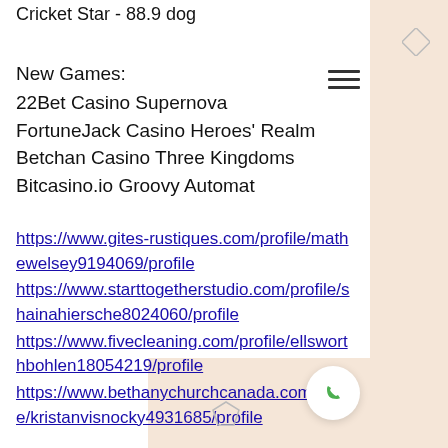Cricket Star - 88.9 dog
New Games:
22Bet Casino Supernova
FortuneJack Casino Heroes' Realm
Betchan Casino Three Kingdoms
Bitcasino.io Groovy Automat
https://www.gites-rustiques.com/profile/mathewelsey9194069/profile
https://www.starttogetherstudio.com/profile/shainahiersche8024060/profile
https://www.fivecleaning.com/profile/ellsworthbohlen18054219/profile
https://www.bethanychurchcanada.com/profile/kristanvisnocky4931685/profile